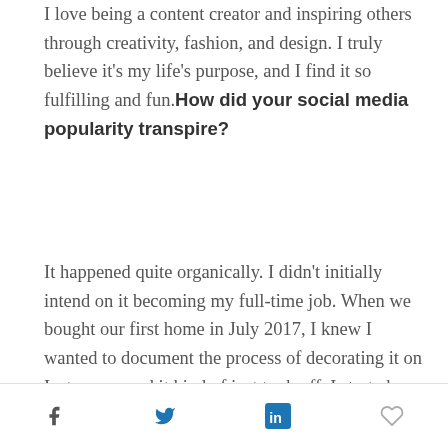I love being a content creator and inspiring others through creativity, fashion, and design. I truly believe it's my life's purpose, and I find it so fulfilling and fun. How did your social media popularity transpire?
It happened quite organically. I didn't initially intend on it becoming my full-time job. When we bought our first home in July 2017, I knew I wanted to document the process of decorating it on Instagram, and it kind of just took off. I started posting every day and became friends with a community of other decor lovers, and
Social share icons: Facebook, Twitter, LinkedIn, Like